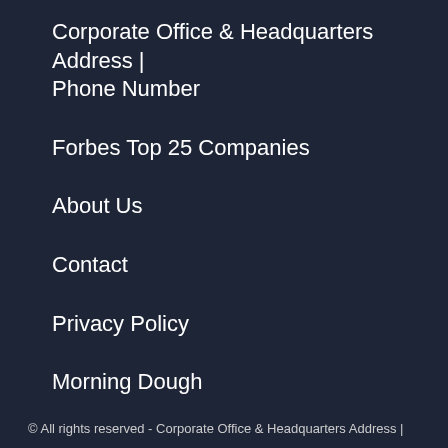Corporate Office & Headquarters Address | Phone Number
Forbes Top 25 Companies
About Us
Contact
Privacy Policy
Morning Dough
© All rights reserved - Corporate Office & Headquarters Address |